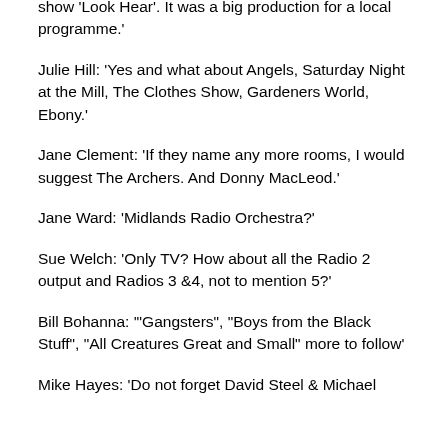show 'Look Hear'. It was a big production for a local programme.'
Julie Hill: 'Yes and what about Angels, Saturday Night at the Mill, The Clothes Show, Gardeners World, Ebony.'
Jane Clement: 'If they name any more rooms, I would suggest The Archers. And Donny MacLeod.'
Jane Ward: 'Midlands Radio Orchestra?'
Sue Welch: 'Only TV? How about all the Radio 2 output and Radios 3 &4, not to mention 5?'
Bill Bohanna: '"Gangsters", "Boys from the Black Stuff", "All Creatures Great and Small" more to follow'
Mike Hayes: 'Do not forget David Steel & Michael